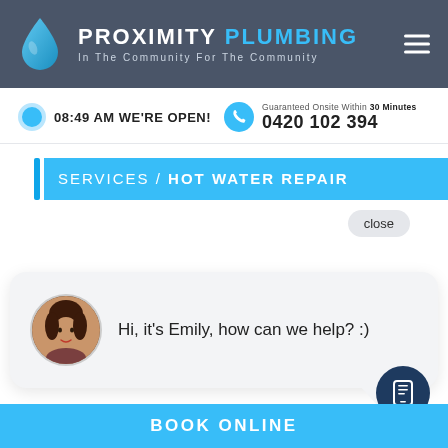[Figure (logo): Proximity Plumbing logo with water drop icon, white and blue text on dark grey background, tagline: In The Community For The Community]
08:49 AM WE'RE OPEN!
Guaranteed Onsite Within 30 Minutes
0420 102 394
SERVICES / HOT WATER REPAIR
close
Hi, it's Emily, how can we help? :)
BOOK ONLINE